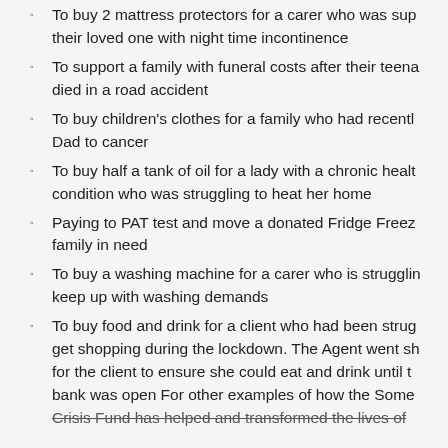To buy 2 mattress protectors for a carer who was supporting their loved one with night time incontinence
To support a family with funeral costs after their teenage child died in a road accident
To buy children's clothes for a family who had recently lost their Dad to cancer
To buy half a tank of oil for a lady with a chronic health condition who was struggling to heat her home
Paying to PAT test and move a donated Fridge Freezer to a family in need
To buy a washing machine for a carer who is struggling to keep up with washing demands
To buy food and drink for a client who had been struggling to get shopping during the lockdown. The Agent went shopping for the client to ensure she could eat and drink until the bank was open For other examples of how the Some Crisis Fund has helped and transformed the lives of